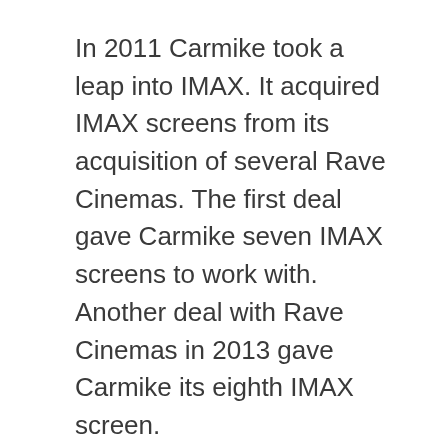In 2011 Carmike took a leap into IMAX. It acquired IMAX screens from its acquisition of several Rave Cinemas. The first deal gave Carmike seven IMAX screens to work with.  Another deal with Rave Cinemas in 2013 gave Carmike its eighth IMAX screen.
In 2014, Carmike was one of the first cinema companies to pull out showing of the movie The Interview (2014) after hackers put out terrorist threats to bomb any cinema that would show the movie. In a move to protect the public and the reputation of Carmike Cinemas, the movie was never to be shown on their screens.